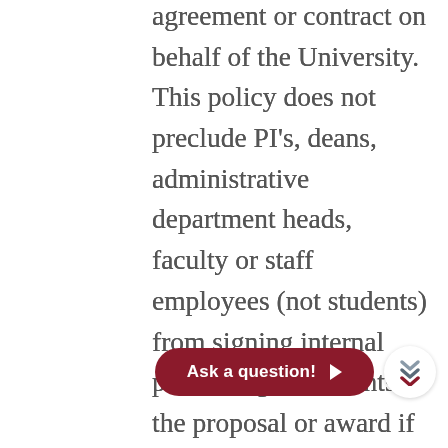agreement or contract on behalf of the University. This policy does not preclude PI's, deans, administrative department heads, faculty or staff employees (not students) from signing internal processing documents or the proposal or award if required by the sponsoring agency; however, the proposal or award document must also contain the signature of the Director in the Office of Sponsored Research Programs. Most grants and contracts shall not be entered